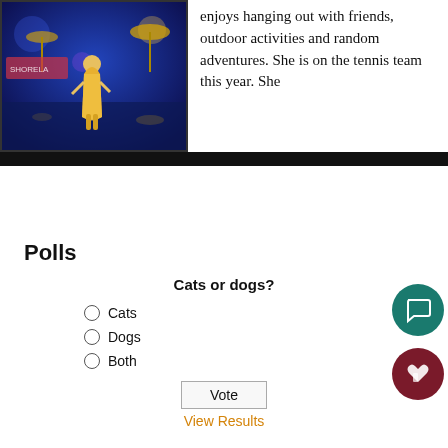[Figure (photo): A young woman in a yellow dress posing outdoors near a waterfront with colorful blue and purple lights in the background.]
enjoys hanging out with friends, outdoor activities and random adventures. She is on the tennis team this year. She
Polls
Cats or dogs?
Cats
Dogs
Both
Vote
View Results